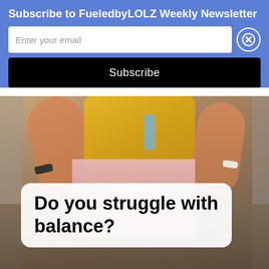Subscribe to FueledbyLOLZ Weekly Newsletter
Enter your email
Subscribe
[Figure (photo): Person running outdoors wearing a yellow sports bra and pink shorts, with rocky terrain in background. A white rounded-rectangle text overlay reads 'Do you struggle with balance?']
Do you struggle with balance?